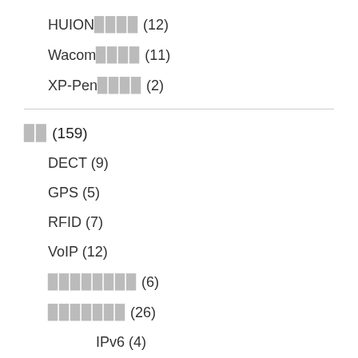HUION████ (12)
Wacom████ (11)
XP-Pen████ (2)
██ (159)
DECT (9)
GPS (5)
RFID (7)
VoIP (12)
████████ (6)
███████ (26)
IPv6 (4)